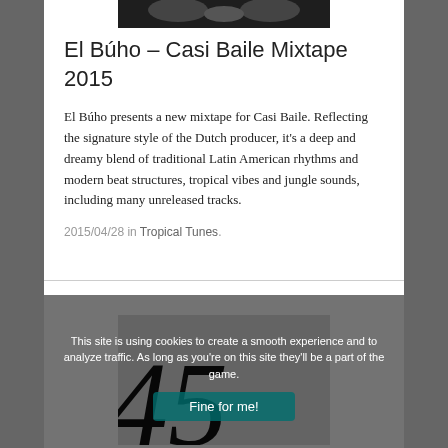[Figure (photo): Partial photo at top of page, dark/black and white image mirrored]
El Búho – Casi Baile Mixtape 2015
El Búho presents a new mixtape for Casi Baile. Reflecting the signature style of the Dutch producer, it's a deep and dreamy blend of traditional Latin American rhythms and modern beat structures, tropical vibes and jungle sounds, including many unreleased tracks.
2015/04/28 in Tropical Tunes.
[Figure (photo): Partial image of large italic numbers/text, partially obscured by cookie consent overlay]
This site is using cookies to create a smooth experience and to analyze traffic. As long as you're on this site they'll be a part of the game.